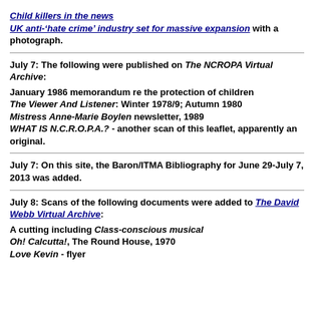Child killers in the news
UK anti-'hate crime' industry set for massive expansion with a photograph.
July 7: The following were published on The NCROPA Virtual Archive:
January 1986 memorandum re the protection of children
The Viewer And Listener: Winter 1978/9; Autumn 1980
Mistress Anne-Marie Boylen newsletter, 1989
WHAT IS N.C.R.O.P.A.? - another scan of this leaflet, apparently an original.
July 7: On this site, the Baron/ITMA Bibliography for June 29-July 7, 2013 was added.
July 8: Scans of the following documents were added to The David Webb Virtual Archive:
A cutting including Class-conscious musical
Oh! Calcutta!, The Round House, 1970
Love Kevin - flyer